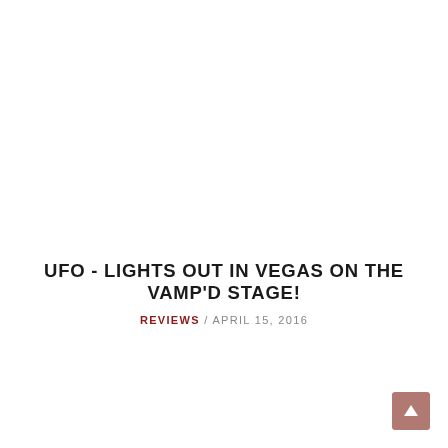UFO - LIGHTS OUT IN VEGAS ON THE VAMP'D STAGE!
REVIEWS / APRIL 15, 2016